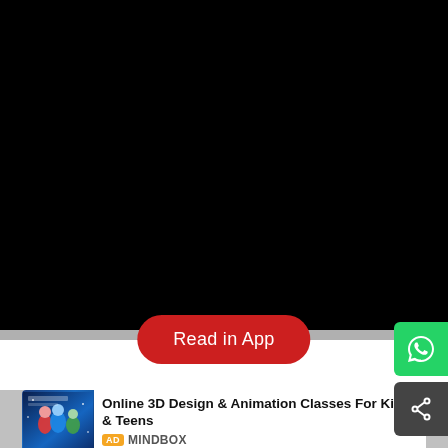[Figure (screenshot): Large black area representing a video or content player area]
[Figure (illustration): Red rounded 'Read in App' button overlaid on the content area]
[Figure (illustration): Green WhatsApp icon button on the right side]
[Figure (illustration): Dark share icon button on the right side below WhatsApp button]
[Figure (illustration): Advertisement card with thumbnail showing 3D animated characters for online design classes for kids]
Online 3D Design & Animation Classes For Kids & Teens
AD MINDBOX